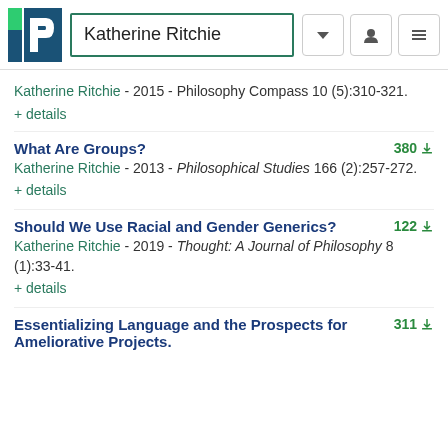Katherine Ritchie
Katherine Ritchie - 2015 - Philosophy Compass 10 (5):310-321.
+ details
What Are Groups?
Katherine Ritchie - 2013 - Philosophical Studies 166 (2):257-272.
+ details
Should We Use Racial and Gender Generics?
Katherine Ritchie - 2019 - Thought: A Journal of Philosophy 8 (1):33-41.
+ details
Essentializing Language and the Prospects for Ameliorative Projects.